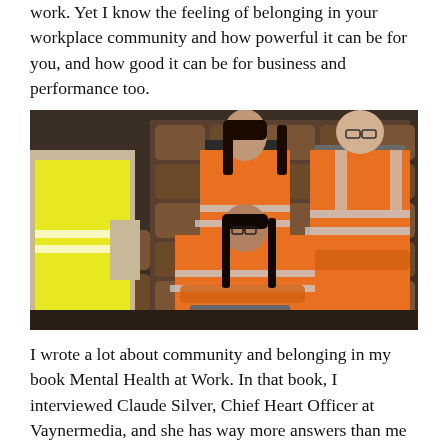work. Yet I know the feeling of belonging in your workplace community and how powerful it can be for you, and how good it can be for business and performance too.
[Figure (photo): Four workers in a warehouse/barrel storage facility wearing orange and yellow safety vests. One person on the left wearing a yellow vest is partially visible from behind, gesturing with hands. In the center background stands a woman in an orange vest looking up. In the foreground sits a woman in an orange vest with arms crossed, wearing glasses. On the right stands a man in an orange vest with arms crossed, wearing glasses. Behind them are rows of wooden barrels stacked on shelves.]
I wrote a lot about community and belonging in my book Mental Health at Work. In that book, I interviewed Claude Silver, Chief Heart Officer at Vaynermedia, and she has way more answers than me when it comes to belonging. She bases much of her people-centric role on how people in her workplace feel like they belong and can connect deeply to her and to their colleagues. In her